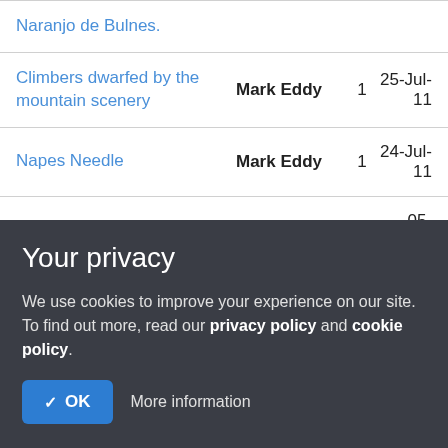| Title | Author | Count | Date |
| --- | --- | --- | --- |
| Naranjo de Bulnes. |  |  |  |
| Climbers dwarfed by the mountain scenery | Mark Eddy | 1 | 25-Jul-11 |
| Napes Needle | Mark Eddy | 1 | 24-Jul-11 |
| The traverse of pitch 3 | Mark Eddy | 1 | 05-May-11 |
| The crux slab of pitch 1 | Mark Eddy | 1 | 05-May-11 |
| www.mountain-... | Mark Eddy | 3 | 16-Apr-11 |
Your privacy
We use cookies to improve your experience on our site. To find out more, read our privacy policy and cookie policy.
OK   More information